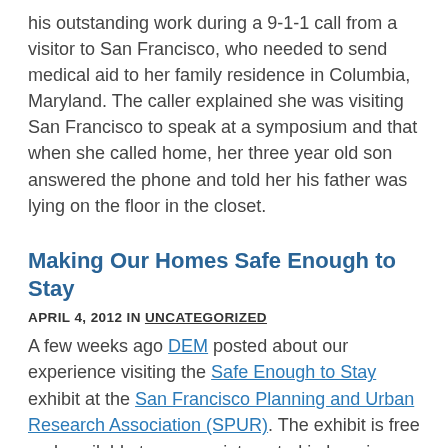his outstanding work during a 9-1-1 call from a visitor to San Francisco, who needed to send medical aid to her family residence in Columbia, Maryland. The caller explained she was visiting San Francisco to speak at a symposium and that when she called home, her three year old son answered the phone and told her his father was lying on the floor in the closet.
Making Our Homes Safe Enough to Stay
APRIL 4, 2012 IN UNCATEGORIZED
A few weeks ago DEM posted about our experience visiting the Safe Enough to Stay exhibit at the San Francisco Planning and Urban Research Association (SPUR). The exhibit is free and available to anyone interested in learning how to make their home safe enough to stay after an earthquake. The last day the exhibit is open is April 18th, which also marks the 106th